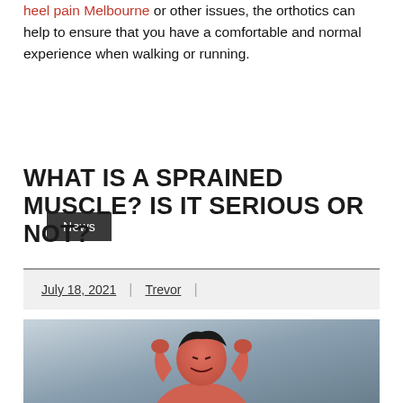heel pain Melbourne or other issues, the orthotics can help to ensure that you have a comfortable and normal experience when walking or running.
News
WHAT IS A SPRAINED MUSCLE? IS IT SERIOUS OR NOT?
July 18, 2021 | Trevor |
[Figure (photo): Photo of a man grimacing in pain, hands behind his head, with reddish skin tone, against a blurred grey background.]